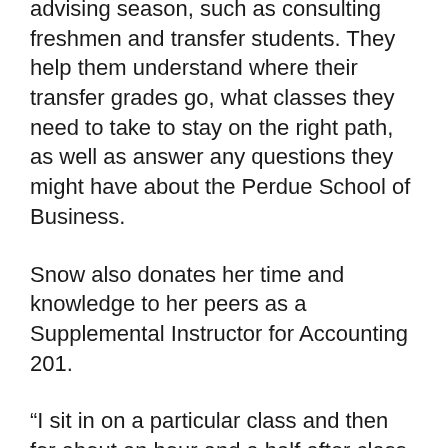advising season, such as consulting freshmen and transfer students. They help them understand where their transfer grades go, what classes they need to take to stay on the right path, as well as answer any questions they might have about the Perdue School of Business.
Snow also donates her time and knowledge to her peers as a Supplemental Instructor for Accounting 201.
“I sit in on a particular class and then for about an hour and a half after class twice a week I take the material that was learned in class and give examples to other students so they can apply it,”